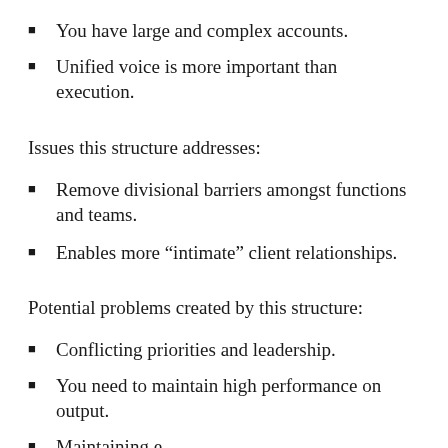You have large and complex accounts.
Unified voice is more important than execution.
Issues this structure addresses:
Remove divisional barriers amongst functions and teams.
Enables more “intimate” client relationships.
Potential problems created by this structure:
Conflicting priorities and leadership.
You need to maintain high performance on output.
Maintaining effective leadership.